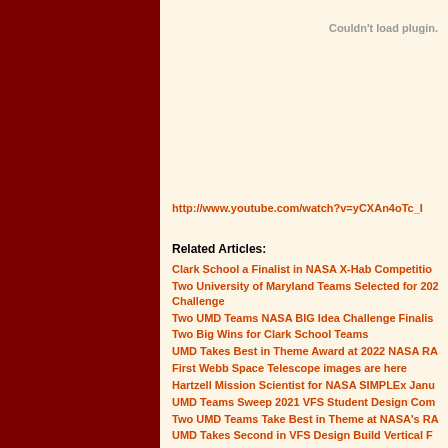[Figure (other): Dark red sidebar column on the left side of the page]
Couldn't load plugin.
http://www.youtube.com/watch?v=yCXAn4oTc_I
Related Articles:
Clark School a Finalist in NASA X-Hab Competition
Two University of Maryland Teams Selected for 2022 NASA BIG Idea Challenge
Two UMD Teams NASA BIG Idea Challenge Finalists
Two Big Wins for Clark School Teams
UMD Takes Best in Theme Award at 2022 NASA RA
First Webb Space Telescope images are here
Hartzell Mission Scientist for NASA SIMPLEx January
UMD Teams Sweep 2021 VFS Student Design Competition
Two UMD Teams Take Best in Theme at NASA's RA
UMD Takes Second in VFS Design Build Vertical Flight